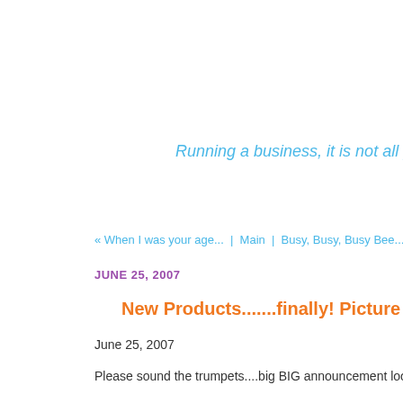Running a business, it is not all pupp
« When I was your age... | Main | Busy, Busy, Busy Bee...that has b
JUNE 25, 2007
New Products.......finally! Picture Fr
June 25, 2007
Please sound the trumpets....big BIG announcement look